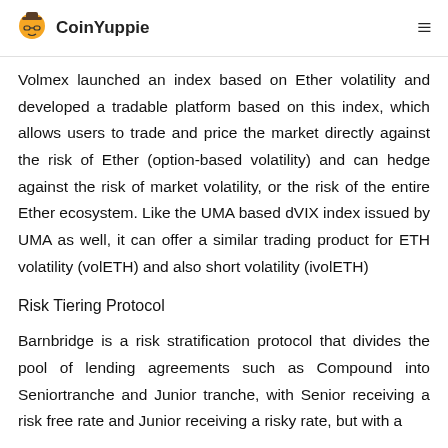CoinYuppie
Volmex launched an index based on Ether volatility and developed a tradable platform based on this index, which allows users to trade and price the market directly against the risk of Ether (option-based volatility) and can hedge against the risk of market volatility, or the risk of the entire Ether ecosystem. Like the UMA based dVIX index issued by UMA as well, it can offer a similar trading product for ETH volatility (volETH) and also short volatility (ivolETH)
Risk Tiering Protocol
Barnbridge is a risk stratification protocol that divides the pool of lending agreements such as Compound into Seniortranche and Junior tranche, with Senior receiving a risk free rate and Junior receiving a risky rate, but with a